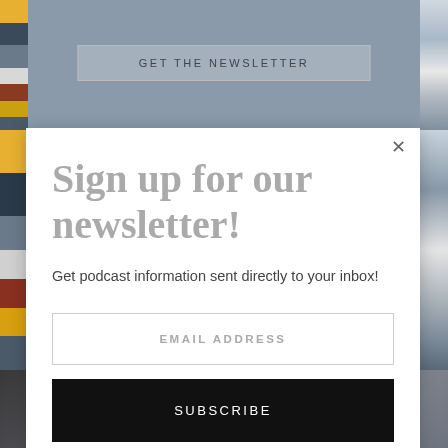[Figure (screenshot): Background showing book spines on left side and partial images at top and bottom]
GET THE NEWSLETTER
Sign up for our newsletter!
Get podcast information sent directly to your inbox!
EMAIL ADDRESS
SUBSCRIBE